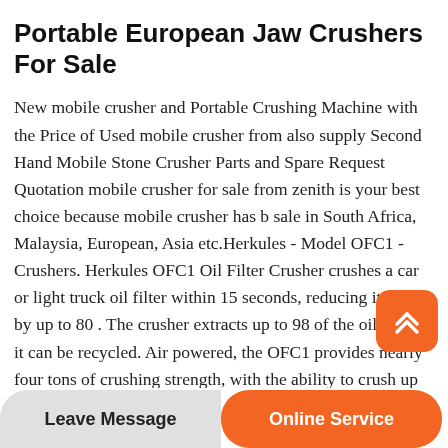Portable European Jaw Crushers For Sale
New mobile crusher and Portable Crushing Machine with the Price of Used mobile crusher from also supply Second Hand Mobile Stone Crusher Parts and Spare Request Quotation mobile crusher for sale from zenith is your best choice because mobile crusher has b sale in South Africa, Malaysia, European, Asia etc.Herkules - Model OFC1 - Crushers. Herkules OFC1 Oil Filter Crusher crushes a car or light truck oil filter within 15 seconds, reducing it in size by up to 80 . The crusher extracts up to 98 of the oil, so that it can be recycled. Air powered, the OFC1 provides nearly four tons of crushing strength, with the ability to crush up
Leave Message | Online Service